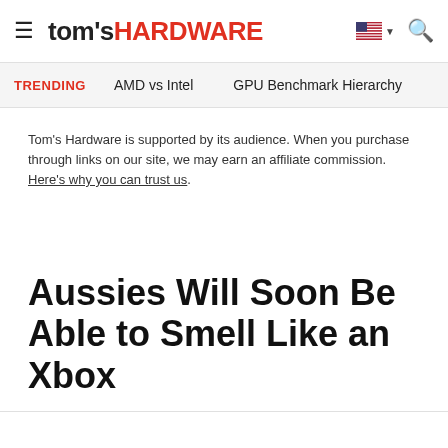tom's HARDWARE
TRENDING   AMD vs Intel   GPU Benchmark Hierarchy
Tom's Hardware is supported by its audience. When you purchase through links on our site, we may earn an affiliate commission. Here's why you can trust us.
Aussies Will Soon Be Able to Smell Like an Xbox